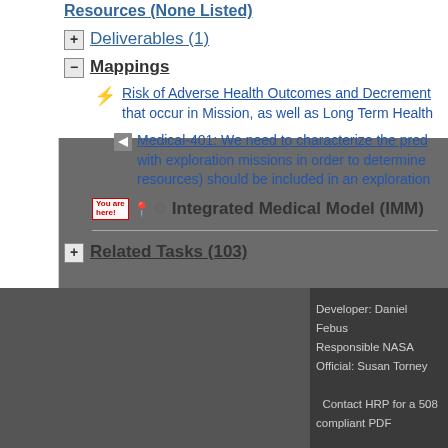Resources (None Listed)
Deliverables (1)
Mappings
Risk of Adverse Health Outcomes and Decrement that occur in Mission, as well as Long Term Health
Medical-401: We need to characterize the pred with exploration missions in order to determine resources) should be included in an exploration
You are here! Integrated Medical Model (IMM)
Related Tasks (103)
Developer: Daniel Febus
Responsible NASA Official: Susan Torney
Contact HRP for a 508 compliant PDF
Budgets, Str Accountabili
Equal Emplo
Posted Purs
Information-I Inventories